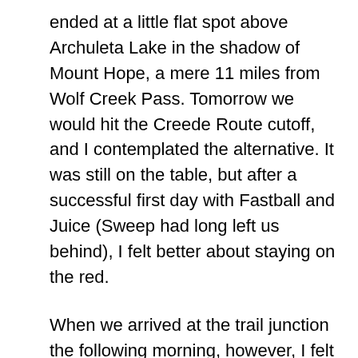ended at a little flat spot above Archuleta Lake in the shadow of Mount Hope, a mere 11 miles from Wolf Creek Pass. Tomorrow we would hit the Creede Route cutoff, and I contemplated the alternative. It was still on the table, but after a successful first day with Fastball and Juice (Sweep had long left us behind), I felt better about staying on the red.
When we arrived at the trail junction the following morning, however, I felt the tug of a guaranteed easy route on my mind. The reports were right, the entire way north was devoid of snow and lush in spring greenery. Had I been alone, there may have been a good chance I would have taken Sawtooth Trail down to Goose Creek,